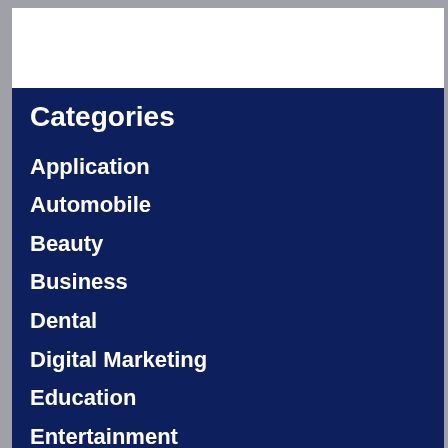Categories
Application
Automobile
Beauty
Business
Dental
Digital Marketing
Education
Entertainment
Fashion
Finance
Food